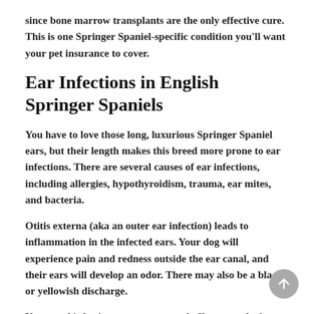since bone marrow transplants are the only effective cure. This is one Springer Spaniel-specific condition you'll want your pet insurance to cover.
Ear Infections in English Springer Spaniels
You have to love those long, luxurious Springer Spaniel ears, but their length makes this breed more prone to ear infections. There are several causes of ear infections, including allergies, hypothyroidism, trauma, ear mites, and bacteria.
Otitis externa (aka an outer ear infection) leads to inflammation in the infected ears. Your dog will experience pain and redness outside the ear canal, and their ears will develop an odor. There may also be a black or yellowish discharge.
Untreated infections can worsen and affect your dog's hearing or balance.